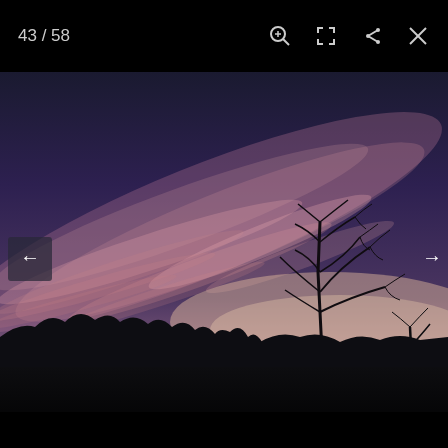43 / 58
[Figure (photo): A twilight/dusk landscape photograph showing a dramatic sky with pink and purple clouds sweeping diagonally across the frame. Bare winter tree silhouettes are visible on the right side. The foreground is dark silhouetted land and shrubs. The horizon glows with a soft orange-pink light from the setting sun. Image viewer UI overlay with navigation arrows and toolbar icons.]